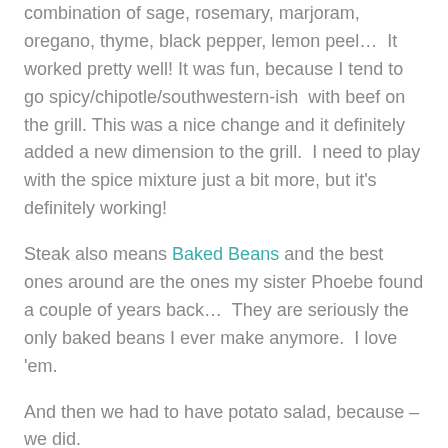combination of sage, rosemary, marjoram, oregano, thyme, black pepper, lemon peel…  It worked pretty well!  It was fun, because I tend to go spicy/chipotle/southwestern-ish  with beef on the grill.  This was a nice change and it definitely added a new dimension to the grill.  I need to play with the spice mixture just a bit more, but it's definitely working!
Steak also means Baked Beans and the best ones around are the ones my sister Phoebe found a couple of years back…  They are seriously the only baked beans I ever make anymore.  I love 'em.
And then we had to have potato salad, because – we did.
I make a pretty close approximation to my mom's potato salad.  Here are the basics… Amounts vary constantly, but I'll get the idea…